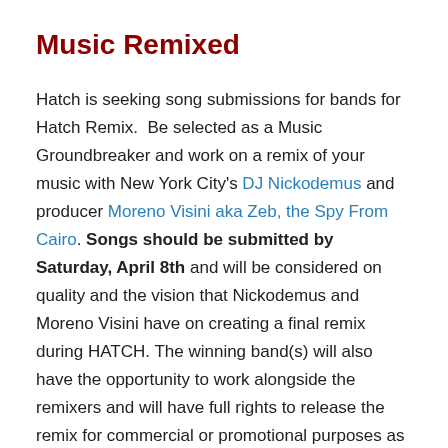Music Remixed
Hatch is seeking song submissions for bands for Hatch Remix.  Be selected as a Music Groundbreaker and work on a remix of your music with New York City's DJ Nickodemus and producer Moreno Visini aka Zeb, the Spy From Cairo. Songs should be submitted by Saturday, April 8th and will be considered on quality and the vision that Nickodemus and Moreno Visini have on creating a final remix during HATCH. The winning band(s) will also have the opportunity to work alongside the remixers and will have full rights to release the remix for commercial or promotional purposes as long as they attribute HATCH, Nickodemus, Moreno Visini, Echo Mountain Studio and any engineers. All genres are encouraged to join. Upload